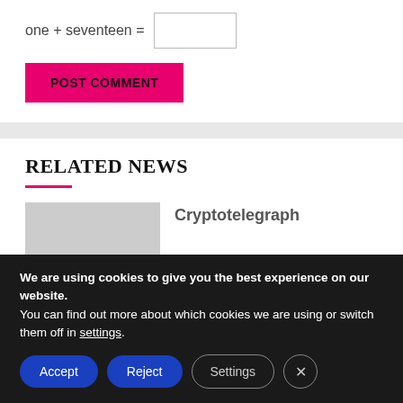one + seventeen =
POST COMMENT
RELATED NEWS
[Figure (photo): Gray placeholder thumbnail image for a news article]
Cryptotelegraph
We are using cookies to give you the best experience on our website.
You can find out more about which cookies we are using or switch them off in settings.
Accept
Reject
Settings
×